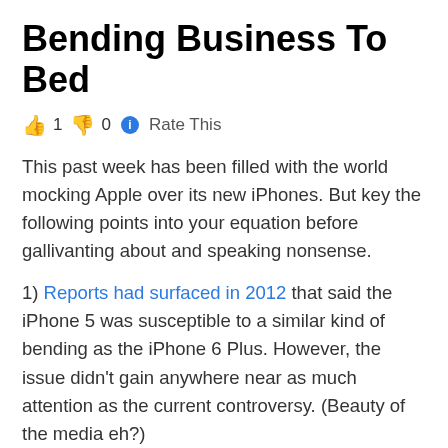Bending Business To Bed
👍 1 👎 0 ℹ Rate This
This past week has been filled with the world mocking Apple over its new iPhones. But key the following points into your equation before gallivanting about and speaking nonsense.
1) Reports had surfaced in 2012 that said the iPhone 5 was susceptible to a similar kind of bending as the iPhone 6 Plus. However, the issue didn't gain anywhere near as much attention as the current controversy. (Beauty of the media eh?)
2) You saw one video and went crazy, watch another that uses science and actually shows you hard numbers instead of some guy just grabbing phones and bending